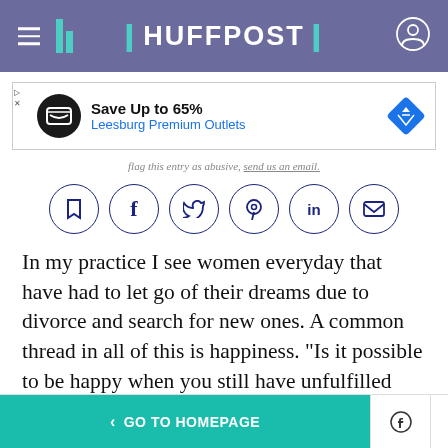HUFFPOST
[Figure (screenshot): Advertisement banner: Save Up to 65% - Leesburg Premium Outlets]
flag this entry as abusive, send us an email.
[Figure (infographic): Social share buttons row: bookmark, facebook, twitter, pinterest, linkedin, email]
In my practice I see women everyday that have had to let go of their dreams due to divorce and search for new ones. A common thread in all of this is happiness. "Is it possible to be happy when you still have unfulfilled dreams?" My answer to them is a big
< GO TO HOMEPAGE